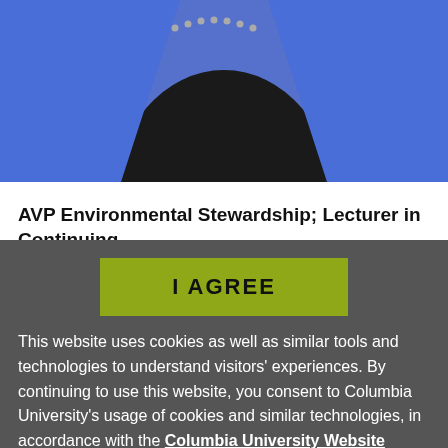[Figure (photo): Person wearing a blue blazer over a dark shirt with decorative details, partial upper body view]
AVP Environmental Stewardship; Lecturer in Continuing Di...
[Figure (other): Olive/yellow-green 'I AGREE' button on dark gray overlay background]
This website uses cookies as well as similar tools and technologies to understand visitors' experiences. By continuing to use this website, you consent to Columbia University's usage of cookies and similar technologies, in accordance with the Columbia University Website Cookie Notice.